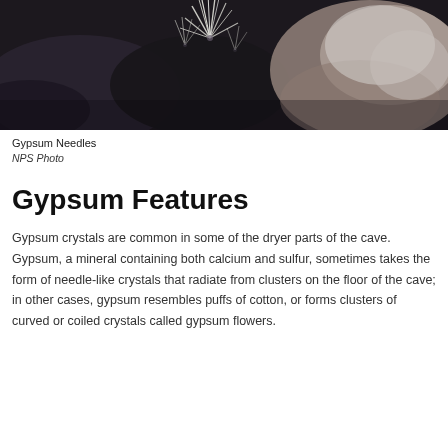[Figure (photo): Close-up photograph of gypsum needles — thin, white, needle-like crystals radiating from dark rocky cave floor material. The image is dark with white crystalline formations visible against dark substrate.]
Gypsum Needles
NPS Photo
Gypsum Features
Gypsum crystals are common in some of the dryer parts of the cave. Gypsum, a mineral containing both calcium and sulfur, sometimes takes the form of needle-like crystals that radiate from clusters on the floor of the cave; in other cases, gypsum resembles puffs of cotton, or forms clusters of curved or coiled crystals called gypsum flowers.